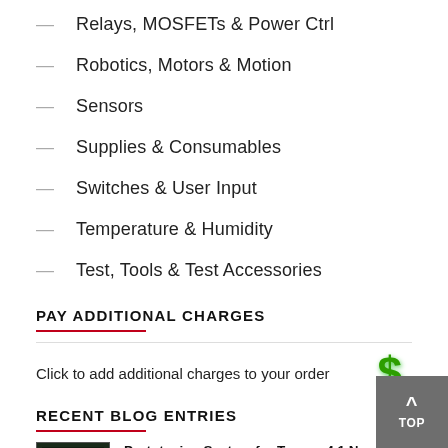Relays, MOSFETs & Power Ctrl
Robotics, Motors & Motion
Sensors
Supplies & Consumables
Switches & User Input
Temperature & Humidity
Test, Tools & Test Accessories
PAY ADDITIONAL CHARGES
Click to add additional charges to your order
[Figure (illustration): Green dollar sign icon]
RECENT BLOG ENTRIES
[Figure (photo): Thumbnail of a green circuit board]
Prototyping System for Teensy 4.1 Now Available
It's hard not to love the Teensy 4.1 with its 6...